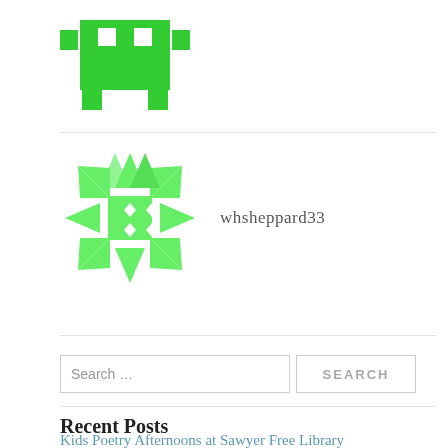[Figure (logo): Green pixel art / space invader style avatar icon, partially cut off at top]
[Figure (logo): Green geometric snowflake/star pattern avatar icon used as user profile image]
whsheppard33
Search …
SEARCH
Recent Posts
Kids Poetry Afternoons at Sawyer Free Library